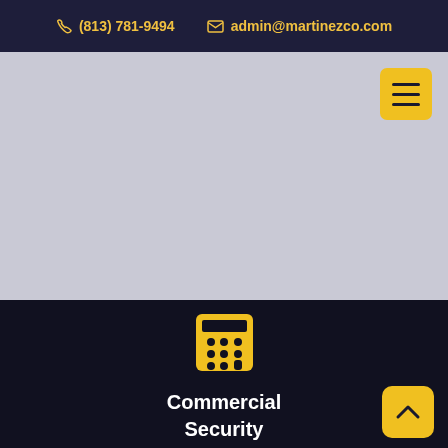📞 (813) 781-9494   ✉ admin@martinezco.com
[Figure (screenshot): Light gray hero/banner area with a yellow hamburger menu button in the top-right corner]
[Figure (illustration): Yellow calculator icon]
Commercial Security